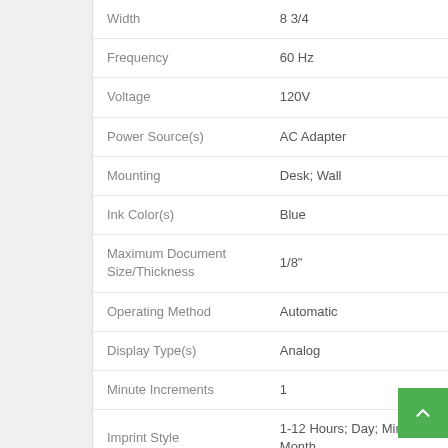| Property | Value |
| --- | --- |
| Width | 8 3/4 |
| Frequency | 60 Hz |
| Voltage | 120V |
| Power Source(s) | AC Adapter |
| Mounting | Desk; Wall |
| Ink Color(s) | Blue |
| Maximum Document Size/Thickness | 1/8" |
| Operating Method | Automatic |
| Display Type(s) | Analog |
| Minute Increments | 1 |
| Imprint Style | 1-12 Hours; Day; Minutes; Month |
| Number of Fonts | 100 |